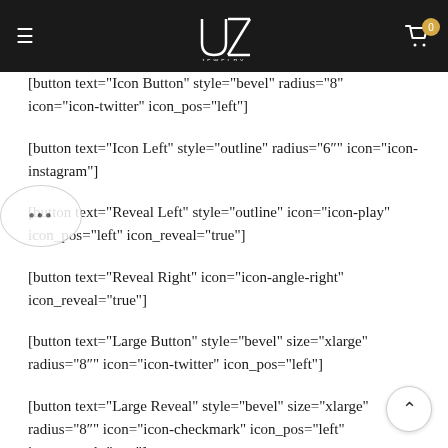UZ Jewelry — navigation header with hamburger menu, logo, and cart
[button text="Icon Button" style="bevel" radius="8" icon="icon-twitter" icon_pos="left"]
[button text="Icon Left" style="outline" radius="6" icon="icon-instagram"]
[button text="Reveal Left" style="outline" icon="icon-play" icon_pos="left" icon_reveal="true"]
[button text="Reveal Right" icon="icon-angle-right" icon_reveal="true"]
[button text="Large Button" style="bevel" size="xlarge" radius="8" icon="icon-twitter" icon_pos="left"]
[button text="Large Reveal" style="bevel" size="xlarge" radius="8" icon="icon-checkmark" icon_pos="left" icon_reveal="true"]